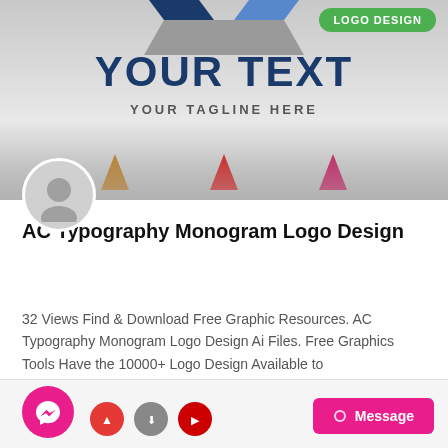[Figure (logo): Logo design template preview banner with abstract blue/gray chevron shape, large blue bold text 'YOUR TEXT', gray tagline 'YOUR TAGLINE HERE', green 'LOGO DESIGN' badge, and colorful triangle decorations at bottom]
[Figure (illustration): Gray circular avatar/profile placeholder icon]
AC Typography Monogram Logo Design
32 Views Find & Download Free Graphic Resources. AC Typography Monogram Logo Design Ai Files. Free Graphics Tools Have the 10000+ Logo Design Available to
[Figure (screenshot): Bottom bar with pink Messenger button icon, social media share icons, and pink 'Message' button on the right]